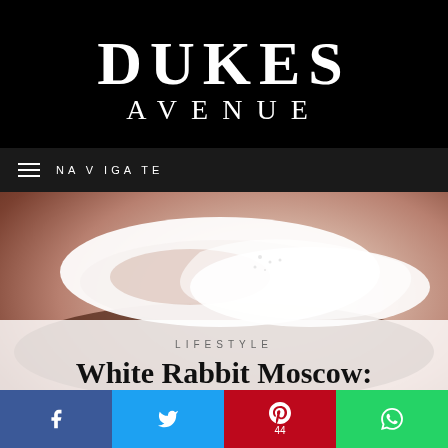DUKES AVENUE
NAVIGATE
[Figure (photo): Close-up photo of decorative white ceramic dishes or cups on a dark wooden surface, with soft warm tones]
LIFESTYLE
White Rabbit Moscow: A Review